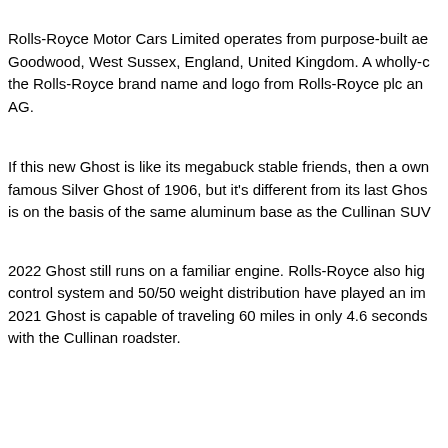Rolls-Royce Motor Cars Limited operates from purpose-built ae Goodwood, West Sussex, England, United Kingdom. A wholly-c the Rolls-Royce brand name and logo from Rolls-Royce plc an AG.
If this new Ghost is like its megabuck stable friends, then a own famous Silver Ghost of 1906, but it's different from its last Ghos is on the basis of the same aluminum base as the Cullinan SUV
2022 Ghost still runs on a familiar engine. Rolls-Royce also hig control system and 50/50 weight distribution have played an im 2021 Ghost is capable of traveling 60 miles in only 4.6 seconds with the Cullinan roadster.